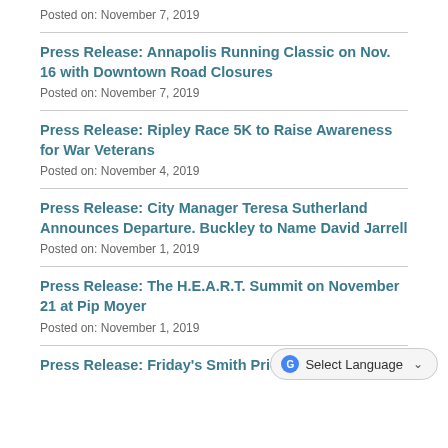Posted on: November 7, 2019
Press Release: Annapolis Running Classic on Nov. 16 with Downtown Road Closures
Posted on: November 7, 2019
Press Release: Ripley Race 5K to Raise Awareness for War Veterans
Posted on: November 4, 2019
Press Release: City Manager Teresa Sutherland Announces Departure. Buckley to Name David Jarrell
Posted on: November 1, 2019
Press Release: The H.E.A.R.T. Summit on November 21 at Pip Moyer
Posted on: November 1, 2019
Press Release: Friday's Smith Price